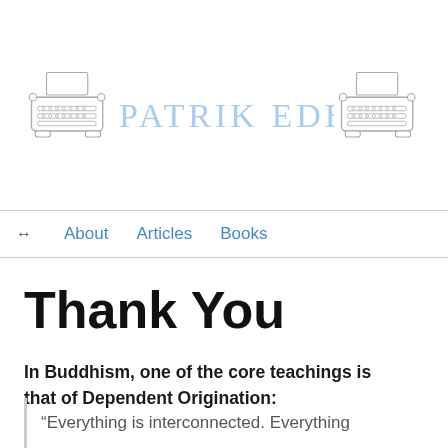[Figure (logo): Patrik Edblad website header with two typewriter illustrations flanking hand-drawn text 'PATRIK EDBLAD']
↔  About    Articles    Books
Thank You
In Buddhism, one of the core teachings is that of Dependent Origination:
“Everything is interconnected. Everything